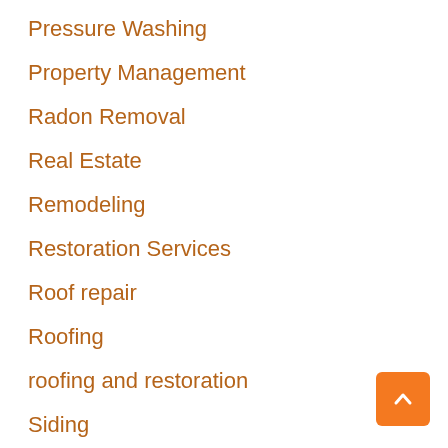Pressure Washing
Property Management
Radon Removal
Real Estate
Remodeling
Restoration Services
Roof repair
Roofing
roofing and restoration
Siding
Tree Service
TV Mounting Service
TV Wall Mount Installation